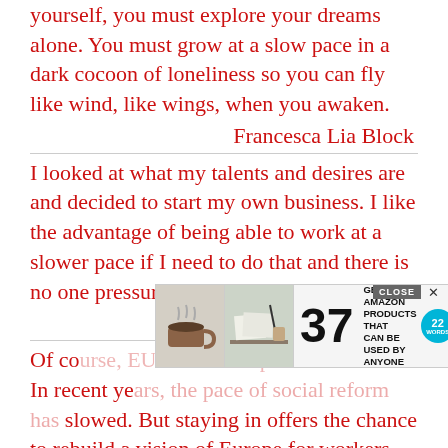yourself, you must explore your dreams alone. You must grow at a slow pace in a dark cocoon of loneliness so you can fly like wind, like wings, when you awaken.
Francesca Lia Block
I looked at what my talents and desires are and decided to start my own business. I like the advantage of being able to work at a slower pace if I need to do that and there is no one pressuring me to work faster
Rhonda Byrne
[Figure (other): Advertisement overlay: showing coffee cup and desk images, large '37', text 'GENIUS AMAZON PRODUCTS THAT CAN BE USED BY ANYONE', logo '22 WORDS', CLOSE button and X button]
Of co... In recent years, the pace of social reform has slowed. But staying in offers the chance to rebuild a vision of Europe for workers...